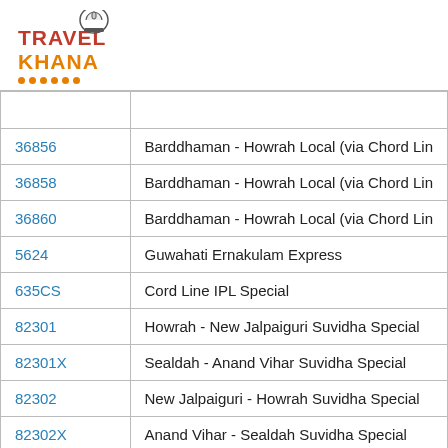[Figure (logo): Travel Khana logo with chef hat icon and orange dots underline]
| Train Number | Train Name |
| --- | --- |
| 36856 | Barddhaman - Howrah Local (via Chord Lin |
| 36858 | Barddhaman - Howrah Local (via Chord Lin |
| 36860 | Barddhaman - Howrah Local (via Chord Lin |
| 5624 | Guwahati Ernakulam Express |
| 635CS | Cord Line IPL Special |
| 82301 | Howrah - New Jalpaiguri Suvidha Special |
| 82301X | Sealdah - Anand Vihar Suvidha Special |
| 82302 | New Jalpaiguri - Howrah Suvidha Special |
| 82302X | Anand Vihar - Sealdah Suvidha Special |
| 82303 | Howrah - Jammu Tawi Suvidha Summer Sr |